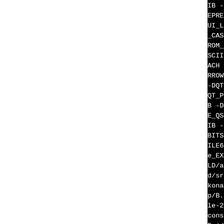IB -DQT_DBUS_LIB -DQT_DEPRECATED_BEFORE=0x50f02 -DQT_GUI_LIB -DQT_NETWORK_LIB -DQT_NO_CAST_FROM_ASCII -DQT_NO_CAST_FROM_BYTEARRAY -DQT_NO_CAST_TO_ASCII -DQT_NO_DEBUG -DQT_NO_FOREACH -DQT_NO_KEYWORDS -DQT_NO_NARROWING_CONVERSIONS_IN_CONNECT -DQT_NO_URL_CAST_FROM_STRING -DQT_PRINTSUPPORT_LIB -DQT_SQL_LIB -DQT_STRICT_ITERATORS -DQT_USE_QSTRINGBUILDER -DQT_WIDGETS_LIB -DQT_XML_LIB -D_FILE_OFFSET_BITS=64 -D_GNU_SOURCE -D_LARGEFILE64_SOURCE -Dlibakonadiconsole_EXPORTS -I/tmp/B.jd8mc_46/BUILD/akonadiconsole-22.04.1/d/src -I/tmp/B.jd8mc_46/BUILD/akonadiconsole-22.04.1/src -I/tmp/B.jd8mc_46/BUILD/akonadiconsole-22.04.1/build/src/libakonadiconsole_autogen/include -I/tmp/B.jd8mc_46/BUILD/akonadiconsole-22.04.1 -I/tmp/B.jd8mc_46